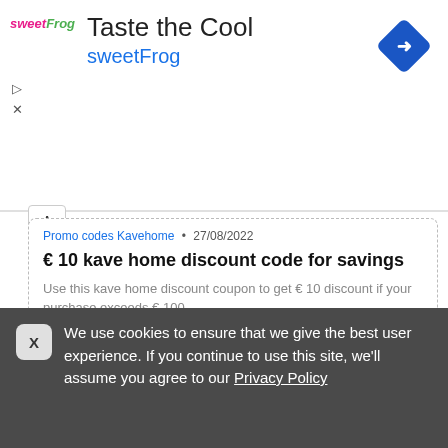[Figure (screenshot): SweetFrog advertisement banner with logo showing 'Taste the Cool' and 'sweetFrog' text in teal/blue, with a blue diamond navigation icon on the right and ad control icons on the left]
€ 10 kave home discount code for savings
Promo codes Kavehome · 27/08/2022
Use this kave home discount coupon to get € 10 discount if your purchase exceeds € 100.
SHOW CODE  T10E
Share   0 times used
We use cookies to ensure that we give the best user experience. If you continue to use this site, we'll assume you agree to our Privacy Policy